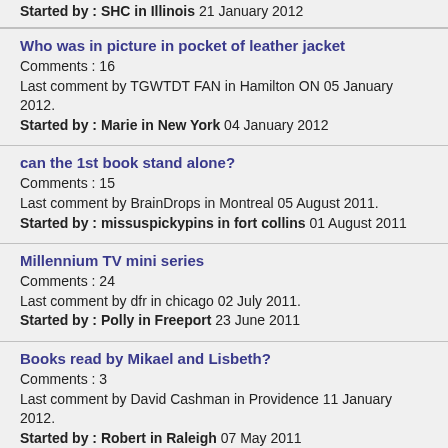Started by : SHC in Illinois 21 January 2012
Who was in picture in pocket of leather jacket
Comments : 16
Last comment by TGWTDT FAN in Hamilton ON 05 January 2012.
Started by : Marie in New York 04 January 2012
can the 1st book stand alone?
Comments : 15
Last comment by BrainDrops in Montreal 05 August 2011.
Started by : missuspickypins in fort collins 01 August 2011
Millennium TV mini series
Comments : 24
Last comment by dfr in chicago 02 July 2011.
Started by : Polly in Freeport 23 June 2011
Books read by Mikael and Lisbeth?
Comments : 3
Last comment by David Cashman in Providence 11 January 2012.
Started by : Robert in Raleigh 07 May 2011
Why does Lisbeth get rid of all evidence?